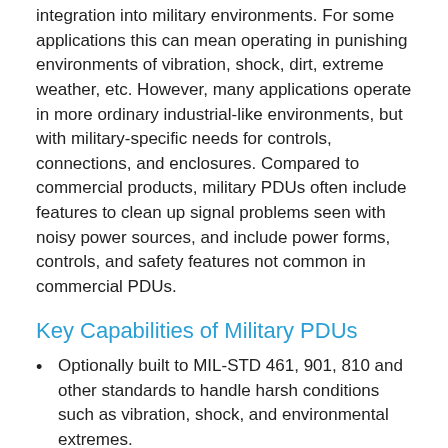integration into military environments. For some applications this can mean operating in punishing environments of vibration, shock, dirt, extreme weather, etc. However, many applications operate in more ordinary industrial-like environments, but with military-specific needs for controls, connections, and enclosures. Compared to commercial products, military PDUs often include features to clean up signal problems seen with noisy power sources, and include power forms, controls, and safety features not common in commercial PDUs.
Key Capabilities of Military PDUs
Optionally built to MIL-STD 461, 901, 810 and other standards to handle harsh conditions such as vibration, shock, and environmental extremes.
Reduces or eliminates conducted and inducted electro-magnetic interference (EMI) from nearby electrical equipment.
Protects against voltage spikes created by high-powered equipment on the same lines, and lightening strikes near outside transmission lines.